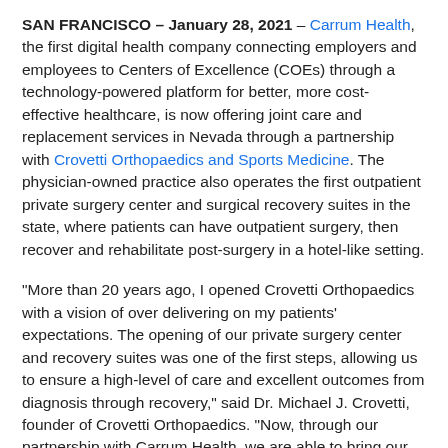SAN FRANCISCO – January 28, 2021 – Carrum Health, the first digital health company connecting employers and employees to Centers of Excellence (COEs) through a technology-powered platform for better, more cost-effective healthcare, is now offering joint care and replacement services in Nevada through a partnership with Crovetti Orthopaedics and Sports Medicine. The physician-owned practice also operates the first outpatient private surgery center and surgical recovery suites in the state, where patients can have outpatient surgery, then recover and rehabilitate post-surgery in a hotel-like setting.
“More than 20 years ago, I opened Crovetti Orthopaedics with a vision of over delivering on my patients’ expectations. The opening of our private surgery center and recovery suites was one of the first steps, allowing us to ensure a high-level of care and excellent outcomes from diagnosis through recovery,” said Dr. Michael J. Crovetti, founder of Crovetti Orthopaedics. “Now, through our partnership with Carrum Health, we are able to bring our innovative model of care and VIP experience to even more patients.”